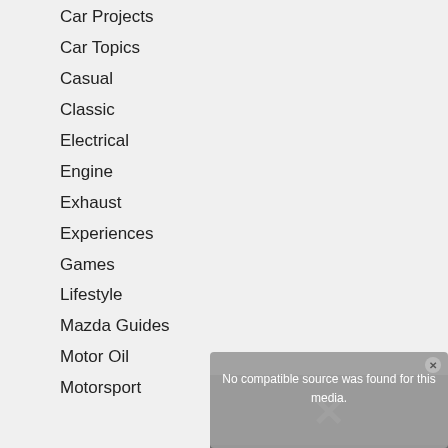Car Projects
Car Topics
Casual
Classic
Electrical
Engine
Exhaust
Experiences
Games
Lifestyle
Mazda Guides
Motor Oil
Motorsport
[Figure (screenshot): Video player popup overlay showing 'No compatible source was found for this media.' with a close button and an X icon over a dark photo background]